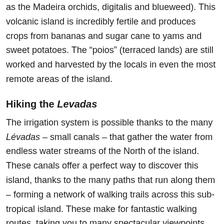as the Madeira orchids, digitalis and blueweed). This volcanic island is incredibly fertile and produces crops from bananas and sugar cane to yams and sweet potatoes. The “poios” (terraced lands) are still worked and harvested by the locals in even the most remote areas of the island.
Hiking the Levadas
The irrigation system is possible thanks to the many Lévadas – small canals – that gather the water from endless water streams of the North of the island. These canals offer a perfect way to discover this island, thanks to the many paths that run along them – forming a network of walking trails across this sub-tropical island. These make for fantastic walking routes, taking you to many spectacular viewpoints.